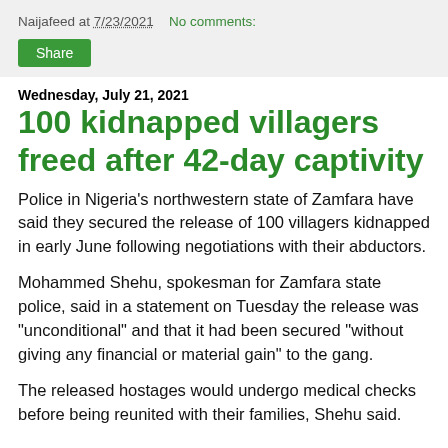Naijafeed at 7/23/2021   No comments:
Share
Wednesday, July 21, 2021
100 kidnapped villagers freed after 42-day captivity
Police in Nigeria’s northwestern state of Zamfara have said they secured the release of 100 villagers kidnapped in early June following negotiations with their abductors.
Mohammed Shehu, spokesman for Zamfara state police, said in a statement on Tuesday the release was “unconditional” and that it had been secured “without giving any financial or material gain” to the gang.
The released hostages would undergo medical checks before being reunited with their families, Shehu said.